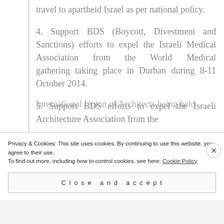travel to apartheid Israel as per national policy.
4. Support BDS (Boycott, Divestment and Sanctions) efforts to expel the Israeli Medical Association from the World Medical gathering taking place in Durban during 8-11 October 2014.
5. Support BDS efforts to expel the Israeli Architecture Association from the International Union of Architects being held...
Privacy & Cookies: This site uses cookies. By continuing to use this website, you agree to their use. To find out more, including how to control cookies, see here: Cookie Policy
Close and accept